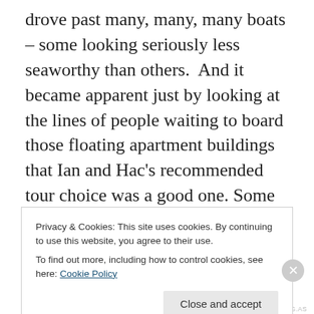drove past many, many, many boats – some looking seriously less seaworthy than others.  And it became apparent just by looking at the lines of people waiting to board those floating apartment buildings that Ian and Hac's recommended tour choice was a good one. Some of the largest and least bouyant looking boats offered the same type of cruise that I booked…for as little as $50 US. Those boats are typically booked by young backpackers who don't worry so much about comfort…and probably never actually get to bed anyway. These are party boats - woohoo! – drinks are not included in the price.
Privacy & Cookies: This site uses cookies. By continuing to use this website, you agree to their use.
To find out more, including how to control cookies, see here: Cookie Policy
Close and accept
REDIRECTING.AS